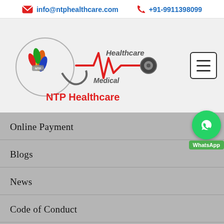info@ntphealthcare.com  +91-9911398099
[Figure (logo): NTP Healthcare logo with stethoscope and heartbeat line graphic, text 'NTP Healthcare', 'Healthcare', 'Medical']
Online Payment
Blogs
News
Code of Conduct
Medical Disclaimer
Terms and Conditions